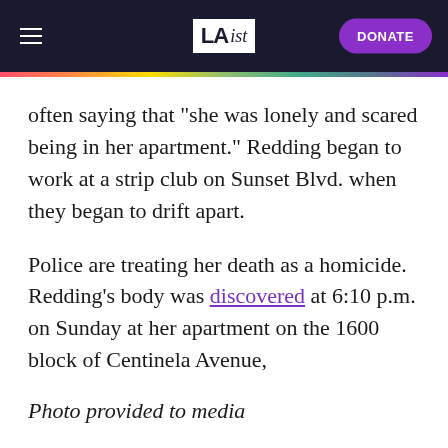LAist | DONATE
often saying that "she was lonely and scared being in her apartment." Redding began to work at a strip club on Sunset Blvd. when they began to drift apart.
Police are treating her death as a homicide. Redding's body was discovered at 6:10 p.m. on Sunday at her apartment on the 1600 block of Centinela Avenue,
Photo provided to media